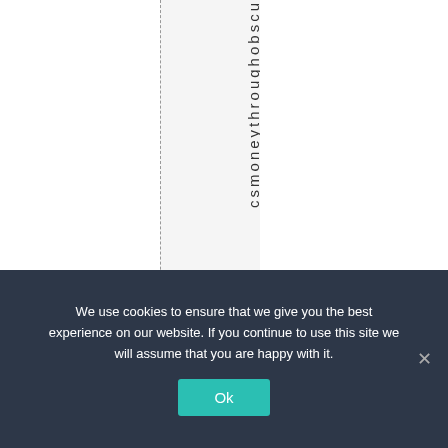c s m o n e y t h r o u g h o b s c u
We use cookies to ensure that we give you the best experience on our website. If you continue to use this site we will assume that you are happy with it.
Ok